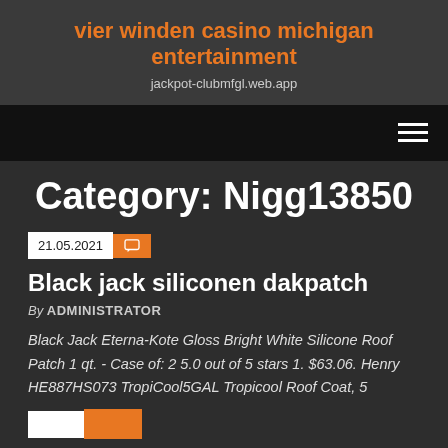vier winden casino michigan entertainment
jackpot-clubmfgl.web.app
Category: Nigg13850
21.05.2021
Black jack siliconen dakpatch
By ADMINISTRATOR
Black Jack Eterna-Kote Gloss Bright White Silicone Roof Patch 1 qt. - Case of: 2 5.0 out of 5 stars 1. $63.06. Henry HE887HS073 TropiCool5GAL Tropicool Roof Coat, 5